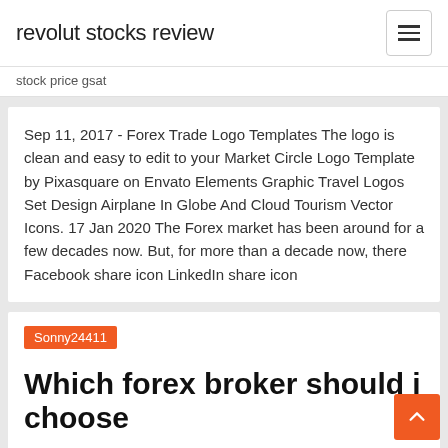revolut stocks review
stock price gsat
Sep 11, 2017 - Forex Trade Logo Templates The logo is clean and easy to edit to your Market Circle Logo Template by Pixasquare on Envato Elements Graphic Travel Logos Set Design Airplane In Globe And Cloud Tourism Vector Icons. 17 Jan 2020 The Forex market has been around for a few decades now. But, for more than a decade now, there Facebook share icon LinkedIn share icon
Sonny24411
Which forex broker should i choose
How to Choose a Forex Broker | Market Traders Institute Nov